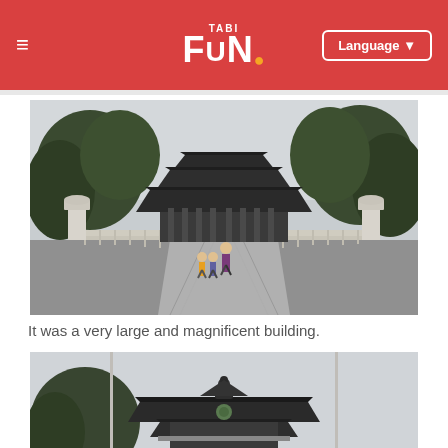TABI FUN — Language
[Figure (photo): Wide-angle view of a large Japanese shrine or temple building with a traditional tiered roof, stone lanterns on either side, a broad paved pathway leading up to it flanked by railings, trees in the background, and a few visitors walking toward the building.]
It was a very large and magnificent building.
[Figure (photo): Close-up view of the ornate roof and upper facade of a Japanese shrine building with decorative ridge ornaments, showing a light overcast sky and flagpoles on either side.]